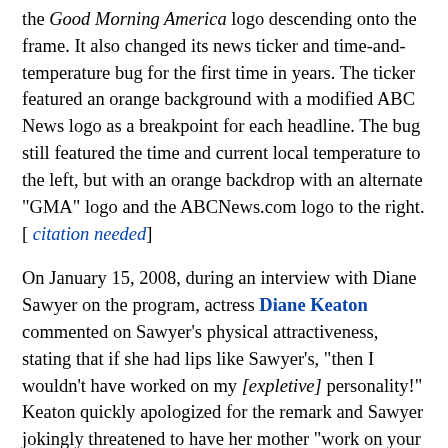the Good Morning America logo descending onto the frame. It also changed its news ticker and time-and-temperature bug for the first time in years. The ticker featured an orange background with a modified ABC News logo as a breakpoint for each headline. The bug still featured the time and current local temperature to the left, but with an orange backdrop with an alternate "GMA" logo and the ABCNews.com logo to the right.[ citation needed]
On January 15, 2008, during an interview with Diane Sawyer on the program, actress Diane Keaton commented on Sawyer's physical attractiveness, stating that if she had lips like Sawyer's, "then I wouldn't have worked on my [expletive] personality!" Keaton quickly apologized for the remark and Sawyer jokingly threatened to have her mother "work on your personality with soap in your mouth." Officials with the Federal Communications Commission